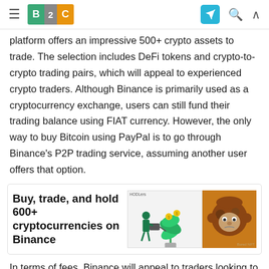B2C [logo] [telegram] [search] [up]
platform offers an impressive 500+ crypto assets to trade. The selection includes DeFi tokens and crypto-to-crypto trading pairs, which will appeal to experienced crypto traders. Although Binance is primarily used as a cryptocurrency exchange, users can still fund their trading balance using FIAT currency. However, the only way to buy Bitcoin using PayPal is to go through Binance's P2P trading service, assuming another user offers that option.
[Figure (infographic): Advertisement banner for Binance: 'Buy, trade, and hold 600+ cryptocurrencies on Binance' with illustration of person watering a plant with crypto coins and a Bored Ape NFT image on orange background]
In terms of fees, Binance will appeal to traders looking to